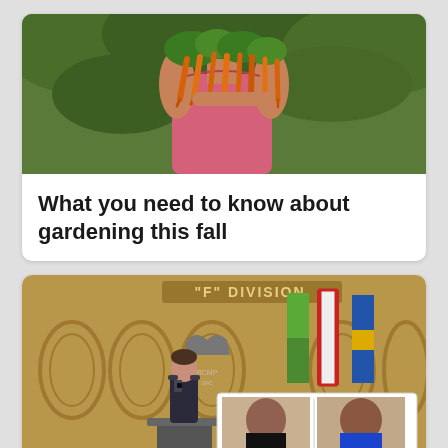[Figure (photo): A person in a pink tank top holding a large bunch of carrots with green tops, outdoors with green foliage in background.]
What you need to know about gardening this fall
[Figure (photo): A press conference at RCMP 'F' Division. A uniformed female officer stands at a podium in front of the RCMP crest. Flags are visible in the background. An inset shows two mugshot-style photos of men labeled 'DAMIEN SANDERSON' and 'MYLES SANDERSON'.]